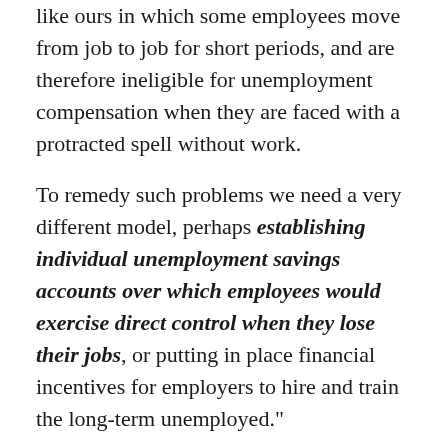like ours in which some employees move from job to job for short periods, and are therefore ineligible for unemployment compensation when they are faced with a protracted spell without work.
To remedy such problems we need a very different model, perhaps establishing individual unemployment savings accounts over which employees would exercise direct control when they lose their jobs, or putting in place financial incentives for employers to hire and train the long-term unemployed."
How many people in our economy really “move from job to job for short periods”?  I’m betting not many.  Even contractors work for just one company and, apparently Mitt has never been on unemployment, it is tracked for all of your employment.  Every state is different, but most states only look at your work history for the